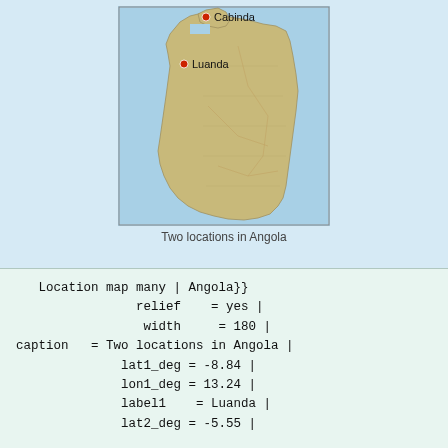[Figure (map): Map of Angola showing two red dot location markers: Cabinda in the north and Luanda on the west coast, with terrain relief shading.]
Two locations in Angola
Location map many | Angola}}
             relief    = yes |
              width     = 180 |
caption   = Two locations in Angola |
           lat1_deg = -8.84 |
           lon1_deg = 13.24 |
           label1    = Luanda |
           lat2_deg = -5.55 |